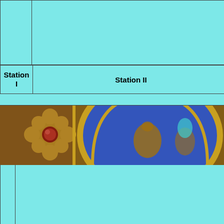|  |  |
| --- | --- |
|  |  |
| Station I | Station II |
| --- | --- |
[Figure (photo): Close-up photograph of an ornate decorative object featuring a gold flower with a red gemstone center on the left, and a large blue circular enamel medallion with gold relief decorations on the right, set against a brown/gold decorative background.]